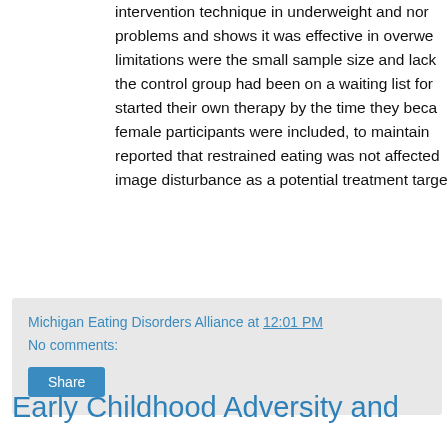intervention technique in underweight and norm problems and shows it was effective in overwe limitations were the small sample size and lack the control group had been on a waiting list for started their own therapy by the time they beca female participants were included, to maintain reported that restrained eating was not affected image disturbance as a potential treatment targe
Michigan Eating Disorders Alliance at 12:01 PM
No comments:
Early Childhood Adversity and